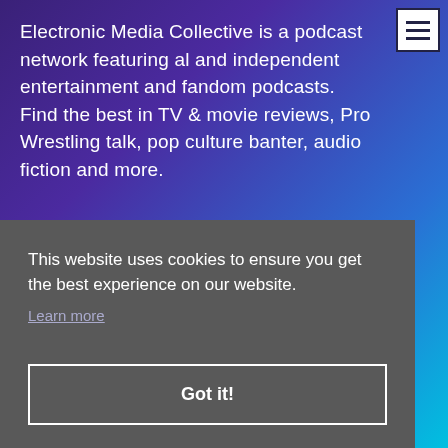Electronic Media Collective is a podcast network featuring al and independent entertainment and fandom podcasts. Find the best in TV & movie reviews, Pro Wrestling talk, pop culture banter, audio fiction and more.
EMC Social Media
[Figure (illustration): Three social media icon circles: Facebook (dark blue), Twitter (light blue), Pinterest/other (teal), partially visible at bottom of header area]
This website uses cookies to ensure you get the best experience on our website.
Learn more
Got it!